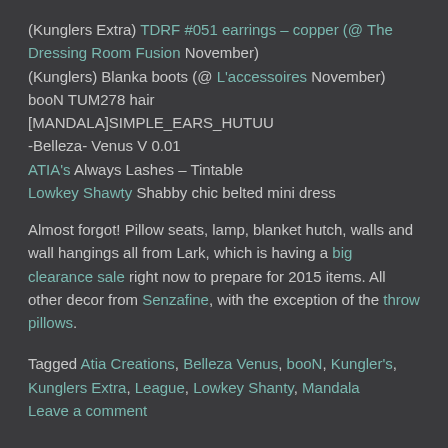(Kunglers Extra) TDRF #051 earrings – copper (@ The Dressing Room Fusion November)
(Kunglers) Blanka boots (@ L'accessoires November)
booN TUM278 hair
[MANDALA]SIMPLE_EARS_HUTUU
-Belleza- Venus V 0.01
ATIA's Always Lashes – Tintable
Lowkey Shawty Shabby chic belted mini dress
Almost forgot! Pillow seats, lamp, blanket hutch, walls and wall hangings all from Lark, which is having a big clearance sale right now to prepare for 2015 items. All other decor from Senzafine, with the exception of the throw pillows.
Tagged Atia Creations, Belleza Venus, booN, Kungler's, Kunglers Extra, League, Lowkey Shanty, Mandala     Leave a comment